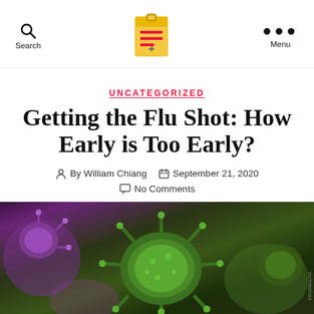Search | [logo] | Menu
UNCATEGORIZED
Getting the Flu Shot: How Early is Too Early?
By William Chiang   September 21, 2020   No Comments
[Figure (photo): Close-up microscopic image of green virus particles (influenza/coronavirus) against a blurred purple and green background]